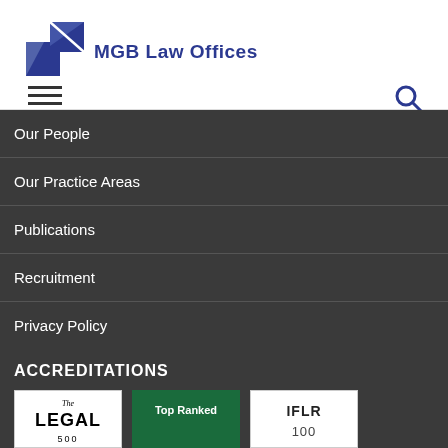[Figure (logo): MGB Law Offices logo with blue geometric squares and text]
Our People
Our Practice Areas
Publications
Recruitment
Privacy Policy
Contact
ACCREDITATIONS
[Figure (logo): The Legal 500 logo badge]
[Figure (logo): Top Ranked green badge]
[Figure (logo): IFLR 1000 logo badge]